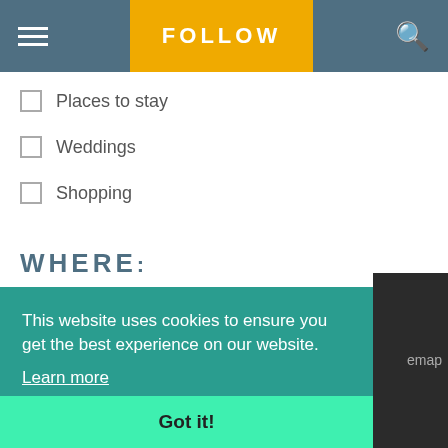FOLLOW
Places to stay
Weddings
Shopping
WHERE:
SELECT
This website uses cookies to ensure you get the best experience on our website.
Learn more
Got it!
emap